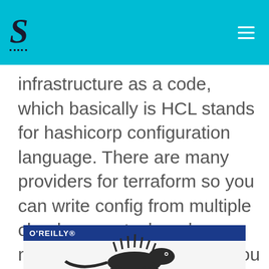S — site logo header with navigation
infrastructure as a code, which basically is HCL stands for hashicorp configuration language. There are many providers for terraform so you can write config from multiple clouds openstack and many more. The list of providers you can find here.
[Figure (photo): O'Reilly book cover showing a lizard illustration, partially visible at bottom of page]